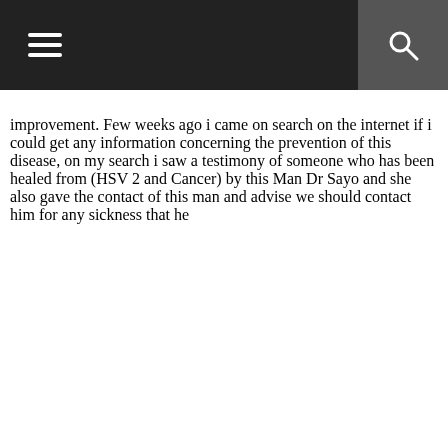[Navigation header with menu icon and search icon]
improvement. Few weeks ago i came on search on the internet if i could get any information concerning the prevention of this disease, on my search i saw a testimony of someone who has been healed from (HSV 2 and Cancer) by this Man Dr Sayo and she also gave the contact of this man and advise we should contact him for any sickness that he